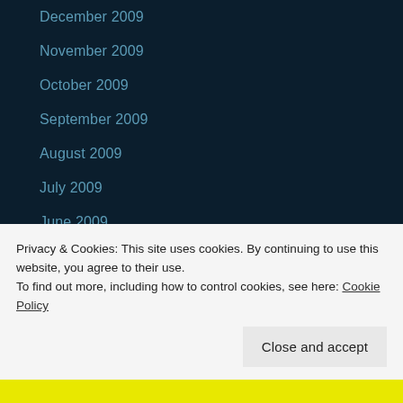December 2009
November 2009
October 2009
September 2009
August 2009
July 2009
June 2009
May 2009
April 2009
March 2009
February 2009
Privacy & Cookies: This site uses cookies. By continuing to use this website, you agree to their use.
To find out more, including how to control cookies, see here: Cookie Policy
Close and accept